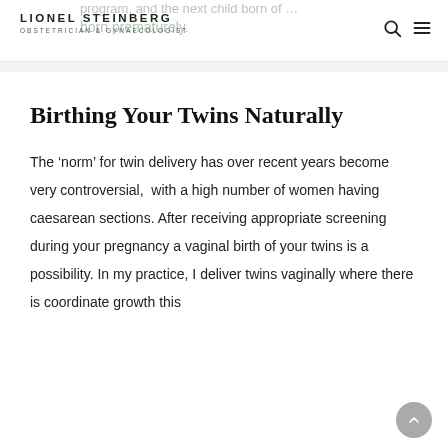LIONEL STEINBERG
OBSTETRICIAN & GYNAECOLOGIST
program, and the next child born of … born prematurely.
Birthing Your Twins Naturally
The ‘norm’ for twin delivery has over recent years become very controversial, with a high number of women having caesarean sections. After receiving appropriate screening during your pregnancy a vaginal birth of your twins is a possibility. In my practice, I deliver twins vaginally where there is coordinate growth this